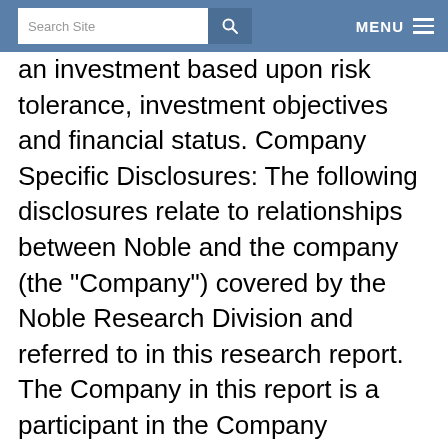Search Site | MENU
an investment based upon risk tolerance, investment objectives and financial status. Company Specific Disclosures: The following disclosures relate to relationships between Noble and the company (the "Company") covered by the Noble Research Division and referred to in this research report. The Company in this report is a participant in the Company Sponsored Research Program ("CSRP"); Noble receives compensation from the Company for such participation. No part of the CSRP compensation was, is, or will be directly or indirectly related to any specific recommendations or views expressed by the analyst in this research report. Noble has